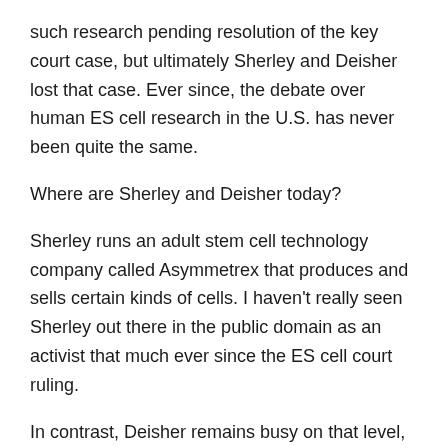such research pending resolution of the key court case, but ultimately Sherley and Deisher lost that case. Ever since, the debate over human ES cell research in the U.S. has never been quite the same.
Where are Sherley and Deisher today?
Sherley runs an adult stem cell technology company called Asymmetrex that produces and sells certain kinds of cells. I haven't really seen Sherley out there in the public domain as an activist that much ever since the ES cell court ruling.
In contrast, Deisher remains busy on that level, reportedly being intimately linked to the anti-Planned Parenthood movement including ties to David Daleiden, who released the secret videotapes. This is all according to a new piece by Becca Andrews in Mother Jones, which also reports that Deisher is involved in the anti-vaxx movement.